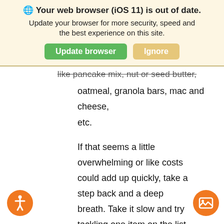[Figure (screenshot): Browser update banner with globe icon, bold title 'Your web browser (iOS 11) is out of date.', subtitle text, and two buttons: 'Update browser' (green) and 'Ignore' (tan/yellow)]
like pancake mix, nut or seed butter, oatmeal, granola bars, mac and cheese, etc.
If that seems a little overwhelming or like costs could add up quickly, take a step back and a deep breath. Take it slow and try tackling one item on the list above each week. Add a few basics or feel better foods to your weekly shopping list and you'll have your pantry stocked in no time!